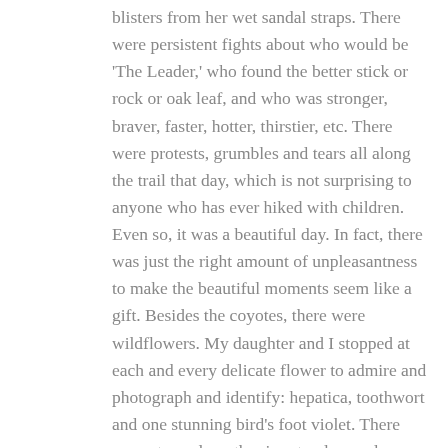blisters from her wet sandal straps. There were persistent fights about who would be 'The Leader,' who found the better stick or rock or oak leaf, and who was stronger, braver, faster, hotter, thirstier, etc. There were protests, grumbles and tears all along the trail that day, which is not surprising to anyone who has ever hiked with children. Even so, it was a beautiful day. In fact, there was just the right amount of unpleasantness to make the beautiful moments seem like a gift. Besides the coyotes, there were wildflowers. My daughter and I stopped at each and every delicate flower to admire and photograph and identify: hepatica, toothwort and one stunning bird's foot violet. There were stops along the river to play, and my sons threw rock after rock after rock for the sole purpose of enjoying the satisfying plunk each one made as it splashed into the clear water. There were pleased smiles as fallen logs and imposing boulders were conquered by little legs.